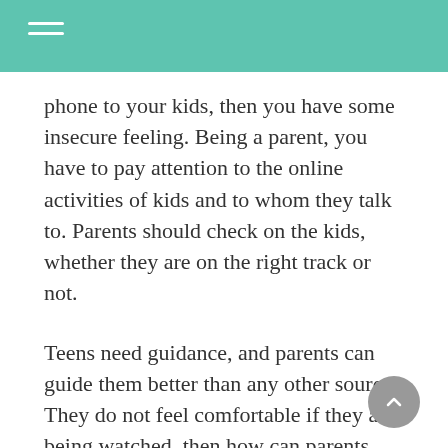phone to your kids, then you have some insecure feeling. Being a parent, you have to pay attention to the online activities of kids and to whom they talk to. Parents should check on the kids, whether they are on the right track or not.
Teens need guidance, and parents can guide them better than any other source. They do not feel comfortable if they are being watched, then how can parents monitor their devices secretly?